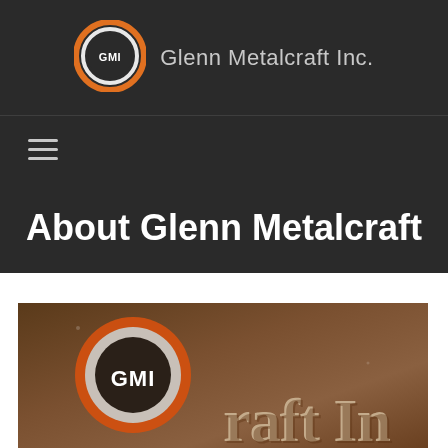Glenn Metalcraft Inc.
[Figure (logo): GMI circular logo with orange ring, white ring and dark center with text GMI]
[Figure (illustration): hamburger menu icon (three horizontal lines)]
About Glenn Metalcraft
[Figure (photo): Close-up photo of GMI 3D metal sign on brushed copper/bronze metallic wall background. Shows the GMI circular logo in orange/white rings and partial text reading 'raft In' (Glenn Metalcraft Inc.)]